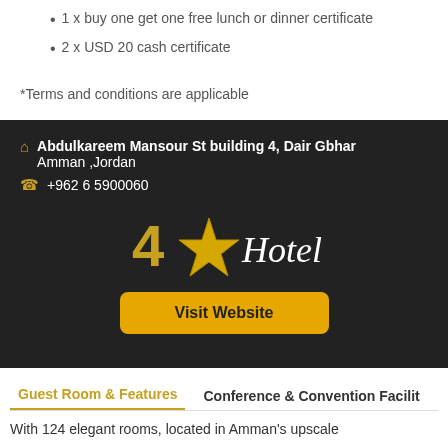1 x buy one get one free lunch or dinner certificate
2 x USD 20 cash certificate
*Terms and conditions are applicable
Abdulkareem Mansour St building 4, Dair Gbhar Amman ,Jordan
+962 6 5900060
[Figure (logo): 4 star hotel logo with gold star and italic 'Hotel' text]
Visit Website
Guest Room & Features
Conference & Convention Facilit
With 124 elegant rooms, located in Amman's upscale